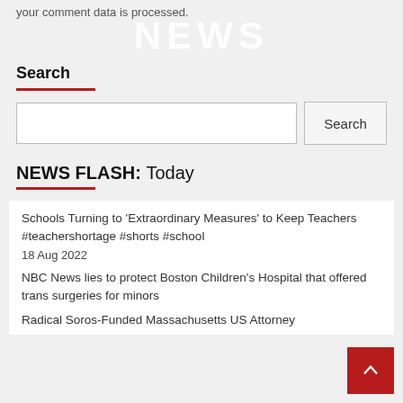your comment data is processed.
NEWS
Search
Search
NEWS FLASH: Today
Schools Turning to ‘Extraordinary Measures’ to Keep Teachers #teachershortage #shorts #school
18 Aug 2022
NBC News lies to protect Boston Children’s Hospital that offered trans surgeries for minors
Radical Soros-Funded Massachusetts US Attorney